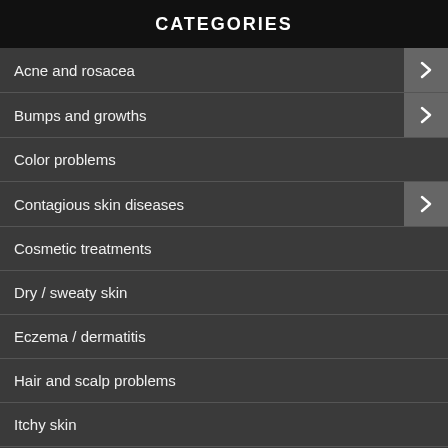CATEGORIES
Acne and rosacea
Bumps and growths
Color problems
Contagious skin diseases
Cosmetic treatments
Dry / sweaty skin
Eczema / dermatitis
Hair and scalp problems
Itchy skin
Painful skin / joints